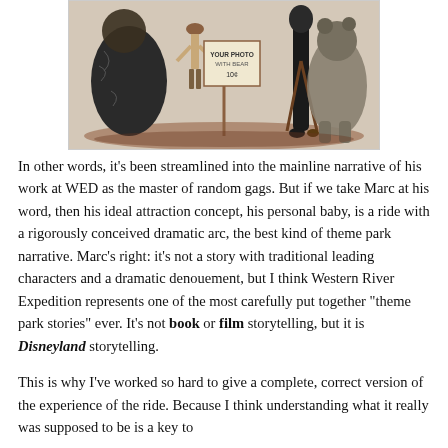[Figure (illustration): Vintage illustration showing characters with a bear and a sign reading 'YOUR PHOTO WITH BEAR 10¢', depicted in an old Western style with two figures flanking a bear and a sign on a stick.]
In other words, it's been streamlined into the mainline narrative of his work at WED as the master of random gags. But if we take Marc at his word, then his ideal attraction concept, his personal baby, is a ride with a rigorously conceived dramatic arc, the best kind of theme park narrative. Marc's right: it's not a story with traditional leading characters and a dramatic denouement, but I think Western River Expedition represents one of the most carefully put together "theme park stories" ever. It's not book or film storytelling, but it is Disneyland storytelling.
This is why I've worked so hard to give a complete, correct version of the experience of the ride. Because I think understanding what it really was supposed to be is a key to